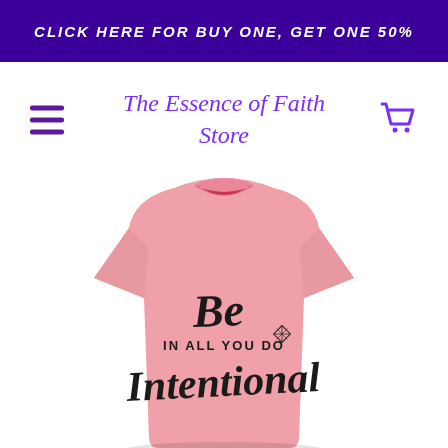CLICK HERE FOR BUY ONE, GET ONE 50%
The Essence of Faith Store
[Figure (photo): Pink women's t-shirt with black calligraphy text reading 'Be Intentional IN ALL YOU DO' with a small diamond/crown graphic accent]